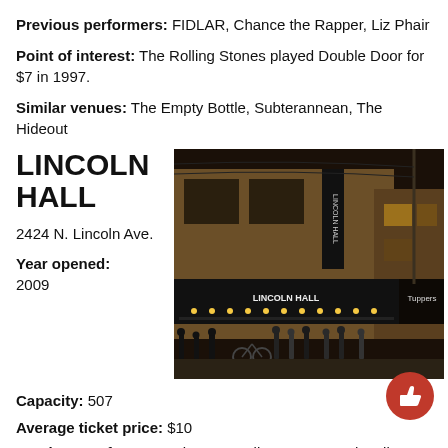Previous performers: FIDLAR, Chance the Rapper, Liz Phair
Point of interest: The Rolling Stones played Double Door for $7 in 1997.
Similar venues: The Empty Bottle, Subterannean, The Hideout
LINCOLN HALL
2424 N. Lincoln Ave.
Year opened: 2009
Capacity: 507
[Figure (photo): Nighttime exterior photo of Lincoln Hall venue at 2424 N. Lincoln Ave., showing illuminated signage 'LINCOLN HALL' over darkened facade with people standing outside on the sidewalk. Adjacent storefront 'Tupperware' visible at right edge.]
Average ticket price: $10
Previous performers: Rita Ora, Fall Out Boy, Trash Talk